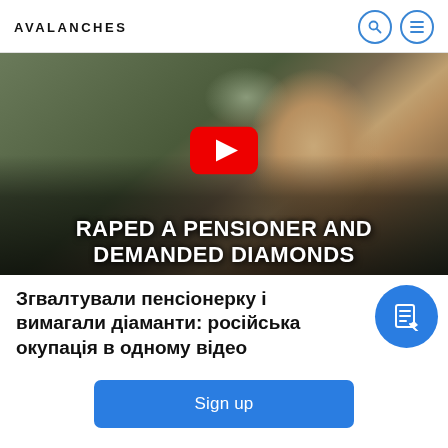AVALANCHES
[Figure (screenshot): Video thumbnail showing an elderly man in close-up with a YouTube play button overlay. Bold white text reads: RAPED A PENSIONER AND DEMANDED DIAMONDS]
Згвалтували пенсіонерку і вимагали діаманти: російська окупація в одному відео
Sign up